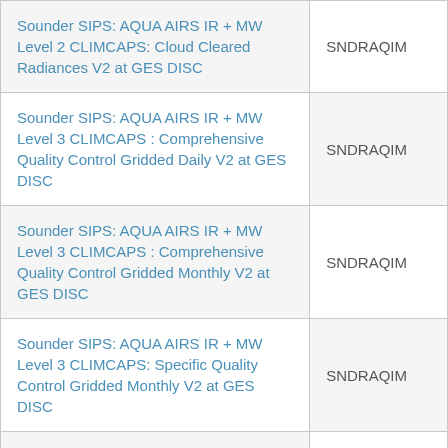| Title | Short Name |
| --- | --- |
| Sounder SIPS: AQUA AIRS IR + MW Level 2 CLIMCAPS: Cloud Cleared Radiances V2 at GES DISC | SNDRAQIM... |
| Sounder SIPS: AQUA AIRS IR + MW Level 3 CLIMCAPS : Comprehensive Quality Control Gridded Daily V2 at GES DISC | SNDRAQIM... |
| Sounder SIPS: AQUA AIRS IR + MW Level 3 CLIMCAPS : Comprehensive Quality Control Gridded Monthly V2 at GES DISC | SNDRAQIM... |
| Sounder SIPS: AQUA AIRS IR + MW Level 3 CLIMCAPS: Specific Quality Control Gridded Monthly V2 at GES DISC | SNDRAQIM... |
| Sounder SIPS: AQUA AIRS IR-only Level 2 CLIMCAPS : Atmosphere, cloud and surface geophysical state V2 at GES DISC | SNDRAQL... |